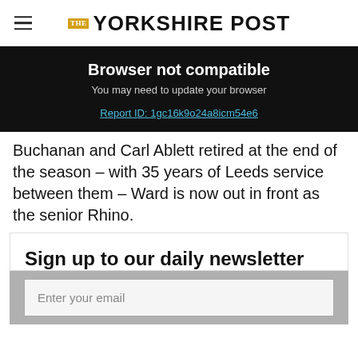THE YORKSHIRE POST
Browser not compatible
You may need to update your browser
Report ID: 1gc16k9o24a8icm54e6
Buchanan and Carl Ablett retired at the end of the season – with 35 years of Leeds service between them – Ward is now out in front as the senior Rhino.
Sign up to our daily newsletter
Enter your email